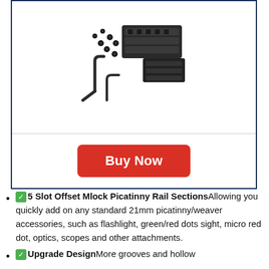[Figure (photo): Product photo of 5 Slot Offset Mlock Picatinny Rail Mount with screws, hex key, and mounting hardware on white background]
Buy Now
✅ 5 Slot Offset Mlock Picatinny Rail Sections Allowing you quickly add on any standard 21mm picatinny/weaver accessories, such as flashlight, green/red dots sight, micro red dot, optics, scopes and other attachments.
✅ Upgrade Design More grooves and hollow